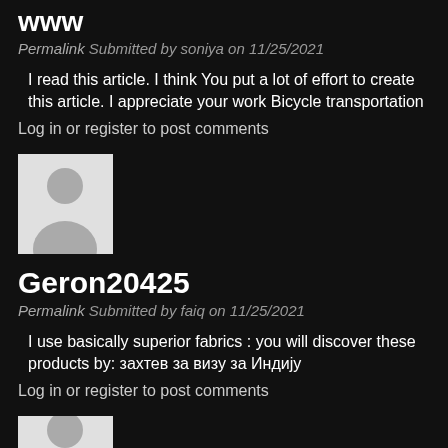www
Permalink Submitted by soniya on 11/25/2021
I read this article. I think You put a lot of effort to create this article. I appreciate your work Bicycle transportation
Log in or register to post comments
[Figure (photo): Default user avatar placeholder - grey silhouette of a person on light background]
Geron20425
Permalink Submitted by faiq on 11/25/2021
I use basically superior fabrics : you will discover these products by: захтев за визу за Индију
Log in or register to post comments
[Figure (photo): Default user avatar placeholder - grey silhouette of a person on light background, partially visible]